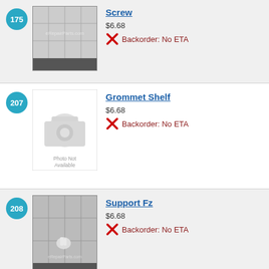175 Screw $6.68 Backorder: No ETA
207 Grommet Shelf $6.68 Backorder: No ETA
208 Support Fz $6.68 Backorder: No ETA
214 Clip Evap Cover